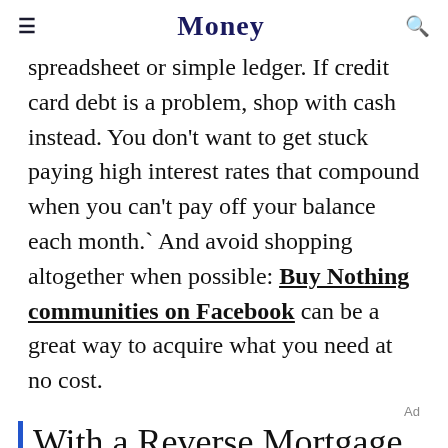≡  Money  🔍
spreadsheet or simple ledger. If credit card debt is a problem, shop with cash instead. You don't want to get stuck paying high interest rates that compound when you can't pay off your balance each month.` And avoid shopping altogether when possible: Buy Nothing communities on Facebook can be a great way to acquire what you need at no cost.
Ad
With a Reverse Mortgage, you can invest in your